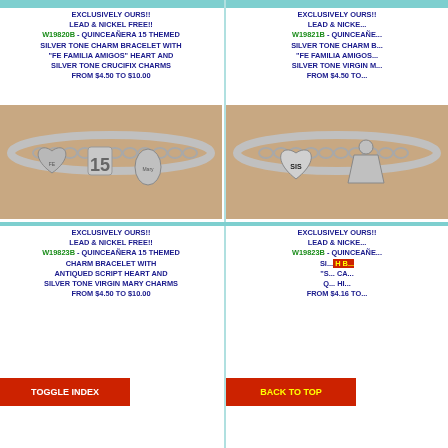EXCLUSIVELY OURS!! LEAD & NICKEL FREE!! W19820B - QUINCEAÑERA 15 THEMED SILVER TONE CHARM BRACELET WITH "FE FAMILIA AMIGOS" HEART AND SILVER TONE CRUCIFIX CHARMS FROM $4.50 TO $10.00
[Figure (photo): Silver tone charm bracelet worn on wrist with heart charm, '15' number charm, and oval Virgin Mary medallion charm]
EXCLUSIVELY OURS!! LEAD & NICKEL FREE!! W19821B - QUINCEAÑERA SILVER TONE CHARM B... "FE FAMILIA AMIGOS... SILVER TONE VIRGIN M... FROM $4.50 TO...
[Figure (photo): Silver tone charm bracelet worn on wrist with heart 'SIS' charm and Quinceañera dress figure charm]
EXCLUSIVELY OURS!! LEAD & NICKEL FREE!! W19823B - QUINCEAÑERA 15 THEMED CHARM BRACELET WITH ANTIQUED SCRIPT HEART AND SILVER TONE VIRGIN MARY CHARMS FROM $4.50 TO $10.00
EXCLUSIVELY OURS!! LEAD & NICKEL FREE!! W19823B - QUINCEAÑERA SILVER TONE... H B... "S... CA... Q... HI... FROM $4.16 TO...
TOGGLE INDEX
BACK TO TOP